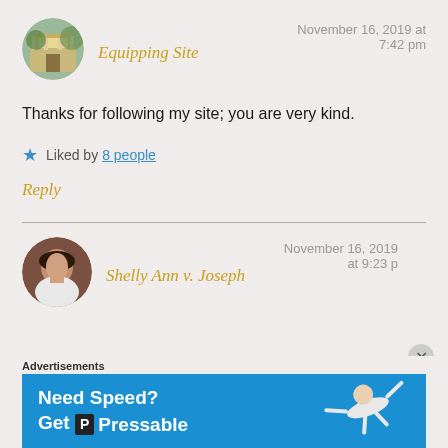[Figure (photo): Circular avatar showing a building with columns and green trees]
Equipping Site
November 16, 2019 at 7:42 pm
Thanks for following my site; you are very kind.
★ Liked by 8 people
Reply
[Figure (photo): Circular avatar showing a young woman in white top]
Shelly Ann v. Joseph
November 16, 2019 at 9:23 pm
Advertisements
[Figure (other): Blue advertisement banner reading 'Need Speed? Get Pressable' with a person figure flying]